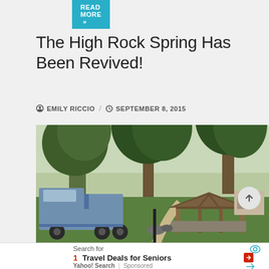READ MORE »
The High Rock Spring Has Been Revived!
EMILY RICCIO / SEPTEMBER 8, 2015
[Figure (photo): Outdoor park scene with large trees, a wooden pavilion/shelter structure, and a large truck parked on the left side. Green grass lawn visible in background.]
Search for
1 Travel Deals for Seniors
Yahoo! Search | Sponsored